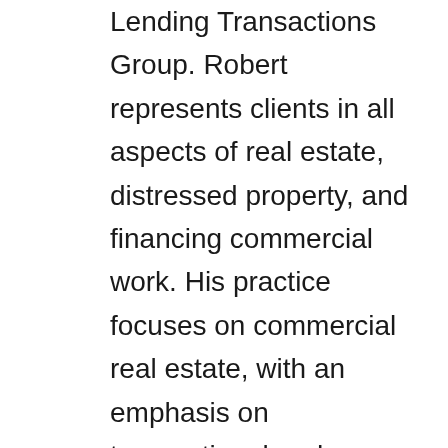Lending Transactions Group. Robert represents clients in all aspects of real estate, distressed property, and financing commercial work. His practice focuses on commercial real estate, with an emphasis on transactional and financing matters. His clients include developers, lenders, investors, and retailers. Robert has served as an expert witness, receiver, mediator and adjunct professor of law. He strives to add value to every deal as a trusted advisor for his clients, based on negotiation skills and practical experience honed over twenty years of buying